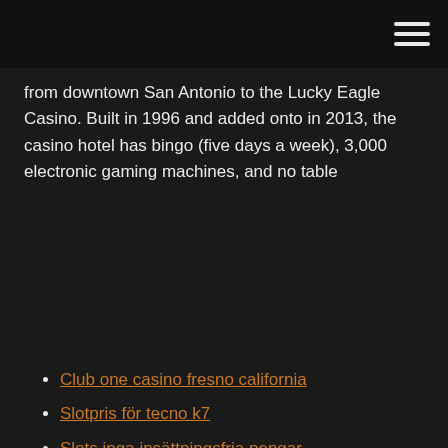from downtown San Antonio to the Lucky Eagle Casino. Built in 1996 and added onto in 2013, the casino hotel has bingo (five days a week), 3,000 electronic gaming machines, and no table
Club one casino fresno california
Slotpris för tecno k7
Slots inga insättningsfria pengar
Bgo casino bonuskoder utan insättning 2021
Texas gold nugget spelkryssning